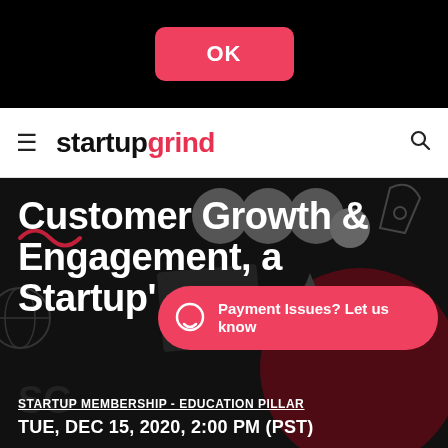[Figure (screenshot): OK button on black background at top of mobile screen]
startup grind
Customer Growth & Engagement, a Startup's...
[Figure (infographic): Pink rounded pill chat bubble with text: Payment Issues? Let us know]
STARTUP MEMBERSHIP - EDUCATION PILLAR
TUE, DEC 15, 2020, 2:00 PM (PST)